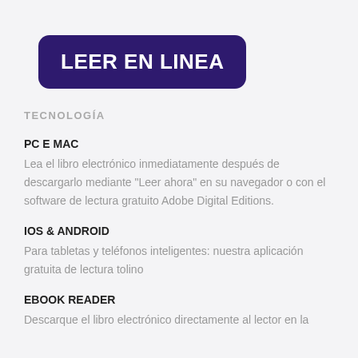LEER EN LINEA
TECNOLOGÍA
PC E MAC
Lea el libro electrónico inmediatamente después de descargarlo mediante "Leer ahora" en su navegador o con el software de lectura gratuito Adobe Digital Editions.
IOS & ANDROID
Para tabletas y teléfonos inteligentes: nuestra aplicación gratuita de lectura tolino
EBOOK READER
Descarque el libro electrónico directamente al lector en la